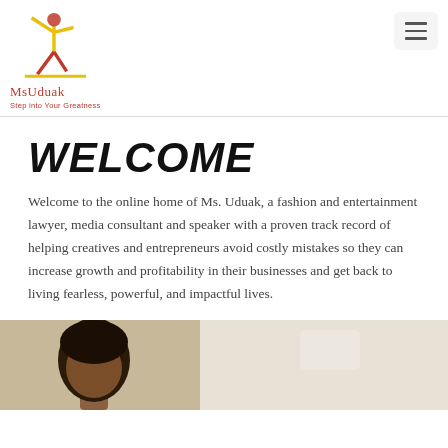Ms Uduak — Step into Your Greatness
WELCOME
Welcome to the online home of Ms. Uduak, a fashion and entertainment lawyer, media consultant and speaker with a proven track record of helping creatives and entrepreneurs avoid costly mistakes so they can increase growth and profitability in their businesses and get back to living fearless, powerful, and impactful lives.
[Figure (photo): Headshot photo of Ms. Uduak, a woman with short dark hair, against a light background]